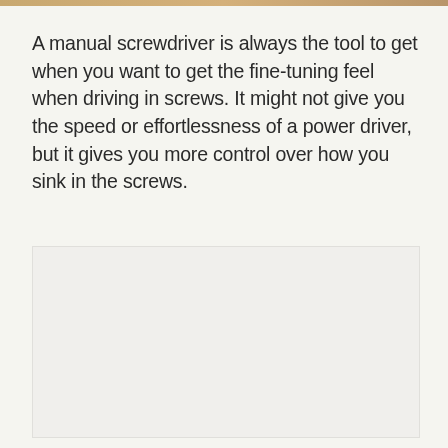A manual screwdriver is always the tool to get when you want to get the fine-tuning feel when driving in screws. It might not give you the speed or effortlessness of a power driver, but it gives you more control over how you sink in the screws.
[Figure (photo): A large light gray/off-white rectangular image placeholder area, possibly showing a screwdriver or related tool, rendered as a blank box.]